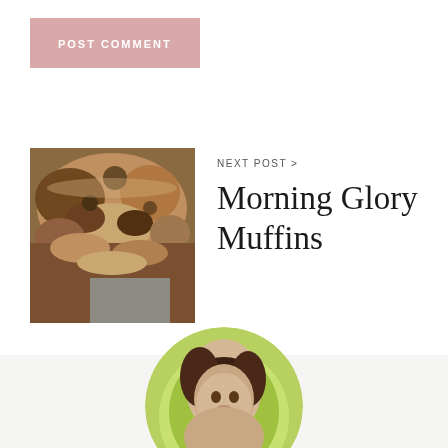POST COMMENT
NEXT POST >
[Figure (photo): Overhead photo of muffins in a bowl with crumble topping]
Morning Glory Muffins
[Figure (photo): Circular cropped portrait photo of a woman with brown hair against a green outdoor background]